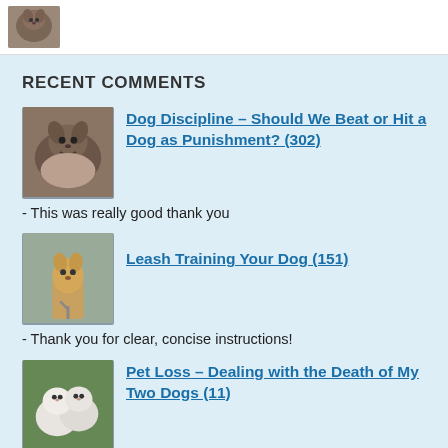[Figure (photo): Small thumbnail image of a dog at the top of the page]
RECENT COMMENTS
[Figure (photo): Thumbnail image of a dog for the Dog Discipline article]
Dog Discipline – Should We Beat or Hit a Dog as Punishment? (302)
- This was really good thank you
[Figure (photo): Thumbnail image of a dog on a leash for Leash Training article]
Leash Training Your Dog (151)
- Thank you for clear, concise instructions!
[Figure (photo): Thumbnail image of white fluffy dogs for Pet Loss article]
Pet Loss – Dealing with the Death of My Two Dogs (11)
Asher
- Hi, long-time lurker here. I've been following your blog since I adopted my shiba in 2016. I'm so sorry ...